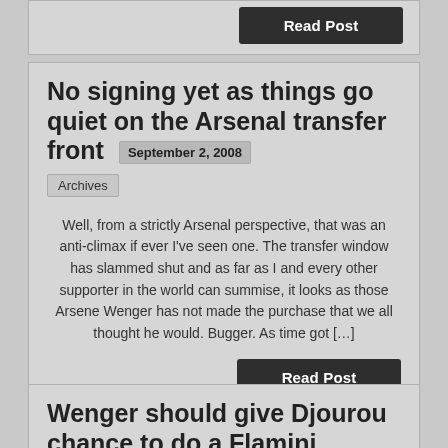[Figure (screenshot): Partial blog post card at top with a dark Read Post button]
No signing yet as things go quiet on the Arsenal transfer front
September 2, 2008
Archives
Well, from a strictly Arsenal perspective, that was an anti-climax if ever I've seen one. The transfer window has slammed shut and as far as I and every other supporter in the world can summise, it looks as those Arsene Wenger has not made the purchase that we all thought he would. Bugger. As time got […]
Read Post
Wenger should give Djourou chance to do a Flamini
August 19, 2008
Archives
Hello again and a very happy Tuesday to you all. I'll start today by thanking everyone who commented on yesterday's post focusing on